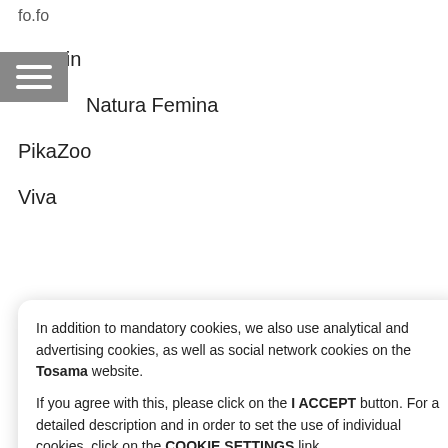fo.fo
Jasmin
Natura Femina
PikaZoo
Viva
[Figure (screenshot): Background strip with logos/brand marks including red bar, circular badges, 'gdana' text, and IFS text]
In addition to mandatory cookies, we also use analytical and advertising cookies, as well as social network cookies on the Tosama website.

If you agree with this, please click on the I ACCEPT button. For a detailed description and in order to set the use of individual cookies, click on the COOKIE SETTINGS link.
POTVRĐUJEM
Postavke kolačića